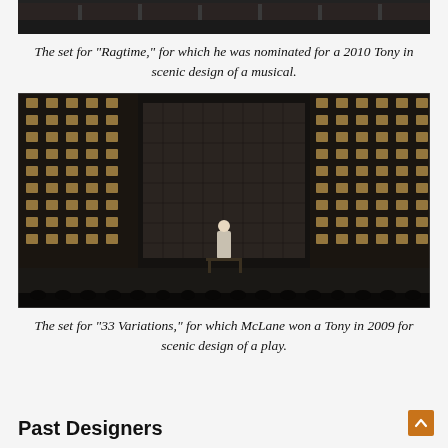[Figure (photo): Top portion of a theater stage photo for Ragtime, showing performers on stage]
The set for "Ragtime," for which he was nominated for a 2010 Tony in scenic design of a musical.
[Figure (photo): Theater stage set for '33 Variations' showing a large wall of illuminated cubbyholes/shelves with a lone figure standing center stage at a table]
The set for "33 Variations," for which McLane won a Tony in 2009 for scenic design of a play.
Past Designers